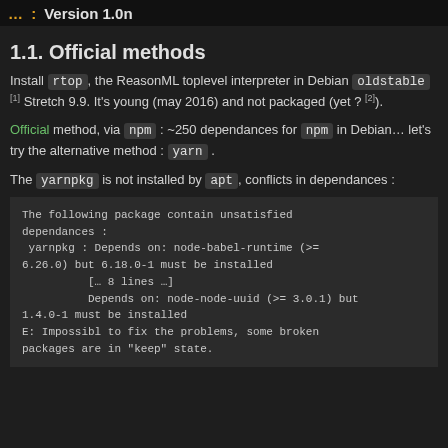... : Version 1.0n
1.1. Official methods
Install rtop, the ReasonML toplevel interpreter in Debian oldstable [1] Stretch 9.9. It's young (may 2016) and not packaged (yet ? [2]).
Official method, via npm : ~250 dependances for npm in Debian... let's try the alternative method : yarn .
The yarnpkg is not installed by apt , conflicts in dependances :
[Figure (screenshot): Terminal output showing unsatisfied dependencies for yarnpkg including node-babel-runtime and node-node-uuid version conflicts, ending with 'E: Impossibl to fix the problems, some broken packages are in keep state.']